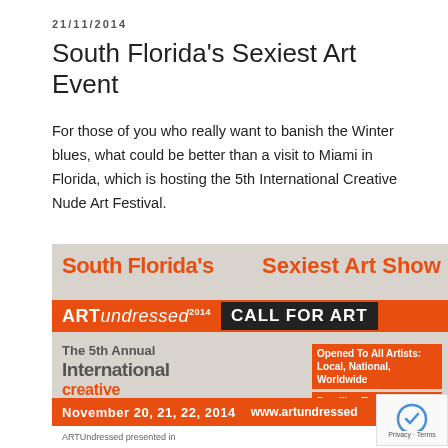21/11/2014
South Florida's Sexiest Art Event
For those of you who really want to banish the Winter blues, what could be better than a visit to Miami in Florida, which is hosting the 5th International Creative Nude Art Festival.
[Figure (illustration): Event poster for ARTundressed 2014 - The 5th Annual International Creative Nude Art Festival in Miami, Florida. Features text: 'South Florida's Sexiest Art Show', 'ARTundressed 2014', 'CALL FOR ART', 'The 5th Annual International creative Nude Art Festival', 'Opened To All Artists: Local, National, Worldwide', 'Deadline To Submit October 1st', '2014', 'MIAMI, FLOR...', 'www.artundressed...', 'November 20, 21, 22, 2014'. Background shows a figure in grayscale.]